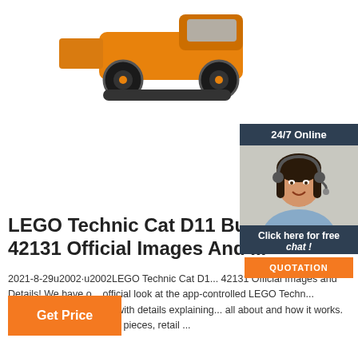[Figure (photo): Orange bulldozer/front loader machine viewed from front-side angle, on white background]
[Figure (photo): Chat widget showing woman with headset smiling, with '24/7 Online' header, 'Click here for free chat!' text, and orange QUOTATION button]
LEGO Technic Cat D11 Bulld... 42131 Official Images And ...
2021-8-29u2002·u2002LEGO Technic Cat D1... 42131 Official Images and Details! We have o... official look at the app-controlled LEGO Techn... Bulldozer (42131) along with details explaining... all about and how it works. The set will contain 8,884 pieces, retail ...
Get Price